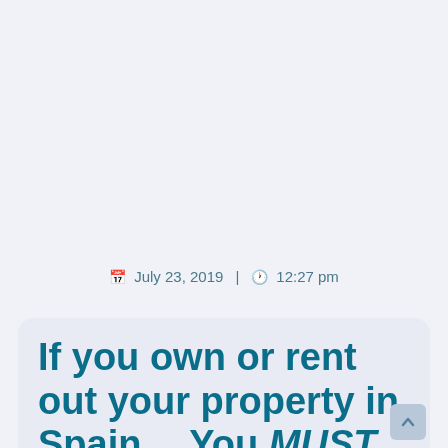July 23, 2019 | 12:27 pm
If you own or rent out your property in Spain... You MUST KNOW THIS!!